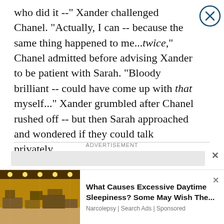who did it --" Xander challenged Chanel. "Actually, I can -- because the same thing happened to me...twice," Chanel admitted before advising Xander to be patient with Sarah. "Bloody brilliant -- could have come up with that myself..." Xander grumbled after Chanel rushed off -- but then Sarah approached and wondered if they could talk privately.
ADVERTISEMENT
[Figure (other): Advertisement placeholder box (gray rectangle) with close X button]
[Figure (photo): Interior of a furniture showroom with ceiling lights and various furniture pieces]
What Causes Excessive Daytime Sleepiness? Some May Wish The... Narcolepsy | Search Ads | Sponsored